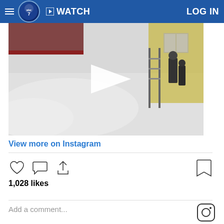abc7 | WATCH | LOG IN
[Figure (screenshot): Video thumbnail showing snow-covered scene with people and a play button overlay, embedded in an Instagram post on ABC7 website]
View more on Instagram
[Figure (other): Instagram interaction icons: heart (like), comment bubble, share, and bookmark]
1,028 likes
Add a comment...
[Figure (logo): Instagram logo icon]